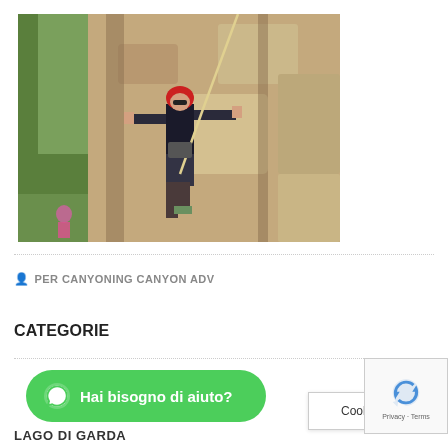[Figure (photo): Person rock climbing / canyoning on a rocky cliff face, wearing a red helmet, black top, dark shorts, and harness with ropes. Green trees visible on left, sandy rock face on right.]
PER CANYONING CANYON ADV
CATEGORIE
[Figure (other): WhatsApp chat button with green background reading 'Hai bisogno di aiuto?']
[Figure (other): reCAPTCHA logo with Privacy - Terms text]
Cookie Settings
LAGO DI GARDA